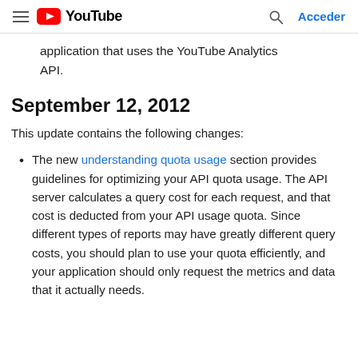≡  YouTube  [search icon]  Acceder
application that uses the YouTube Analytics API.
September 12, 2012
This update contains the following changes:
The new understanding quota usage section provides guidelines for optimizing your API quota usage. The API server calculates a query cost for each request, and that cost is deducted from your API usage quota. Since different types of reports may have greatly different query costs, you should plan to use your quota efficiently, and your application should only request the metrics and data that it actually needs.